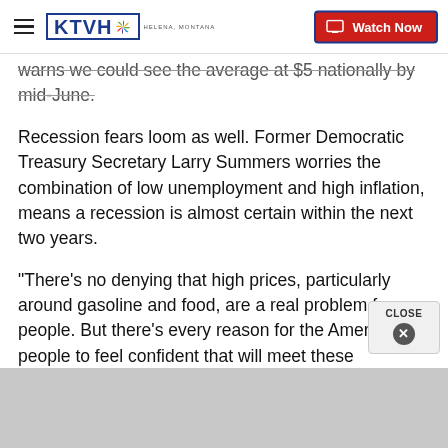KTVH | Watch Now
warns we could see the average at $5 nationally by mid-June.
Recession fears loom as well. Former Democratic Treasury Secretary Larry Summers worries the combination of low unemployment and high inflation, means a recession is almost certain within the next two years.
"There's no denying that high prices, particularly around gasoline and food, are a real problem for people. But there's every reason for the American people to feel confident that will meet these